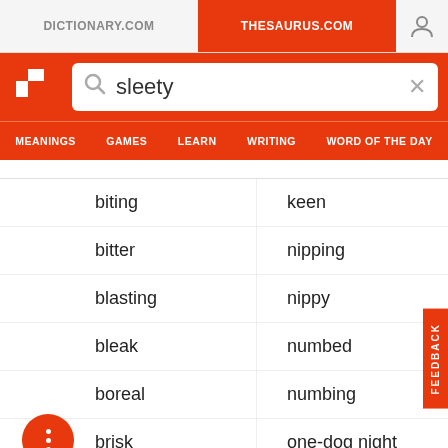DICTIONARY.COM | THESAURUS.COM
sleety
MEANINGS | GAMES | LEARN | WRITING | WORD OF THE DAY
biting
keen
bitter
nipping
blasting
nippy
bleak
numbed
boreal
numbing
brisk
one-dog night
brumal
penetrating
chill
piercing